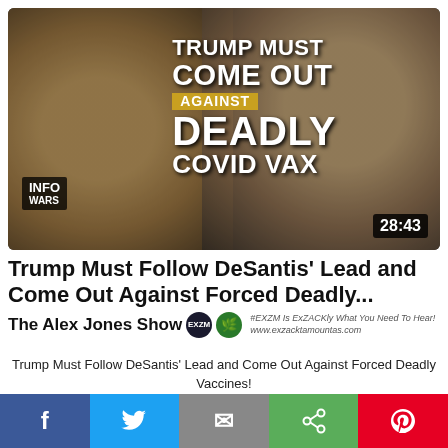[Figure (screenshot): Thumbnail image with two men (Trump left, DeSantis right) and overlaid text: TRUMP MUST COME OUT AGAINST DEADLY COVID VAX. InfoWars logo bottom left. Duration 28:43 bottom right.]
Trump Must Follow DeSantis' Lead and Come Out Against Forced Deadly...
The Alex Jones Show [EXZM badge] [leaf badge] #EXZM Is ExZACKly What You Need To Hear! www.exzacktamountas.com
Trump Must Follow DeSantis' Lead and Come Out Against Forced Deadly Vaccines!
https://banned.video/watch?id=62fd4c700dc088068b52e94a
[Figure (infographic): Social share bar with Facebook, Twitter, Email, Share, and Pinterest buttons]